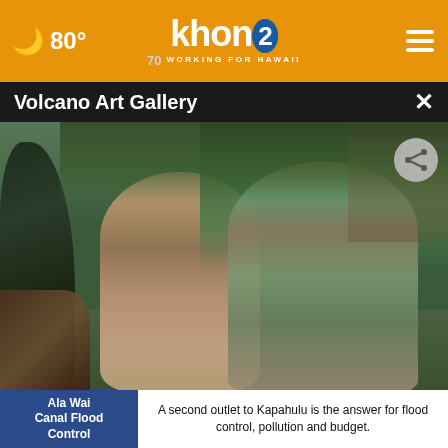80° khon2 WORKING FOR HAWAII
Volcano Art Gallery
[Figure (photo): Two people talking outdoors in a garden setting near an art gallery, with tropical vegetation in background. A woman in a tank top faces an older bearded man in a Hawaiian shirt. A dark sculptural artwork visible on the left.]
[Figure (photo): Two thumbnail images in the bottom strip: left shows a beach/water scene, right shows an aerial/map view.]
Ala Wai Canal Flood Control
A second outlet to Kapahulu is the answer for flood control, pollution and budget.